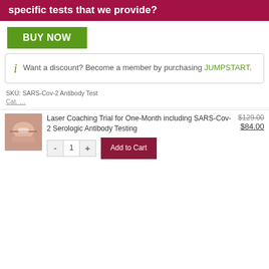specific tests that we provide?
BUY NOW
Want a discount? Become a member by purchasing JUMPSTART.
SKU: SARS-Cov-2 Antibody Test
Laser Coaching Trial for One-Month including SARS-Cov-2 Serologic Antibody Testing
$129.00  $84.00